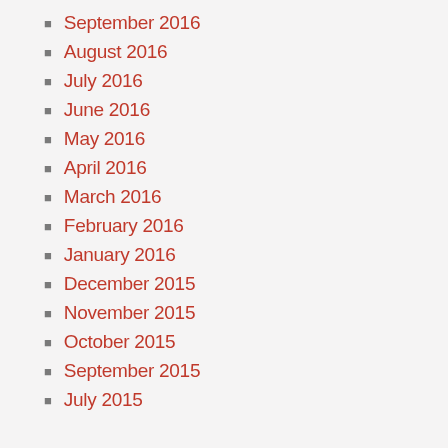September 2016
August 2016
July 2016
June 2016
May 2016
April 2016
March 2016
February 2016
January 2016
December 2015
November 2015
October 2015
September 2015
July 2015